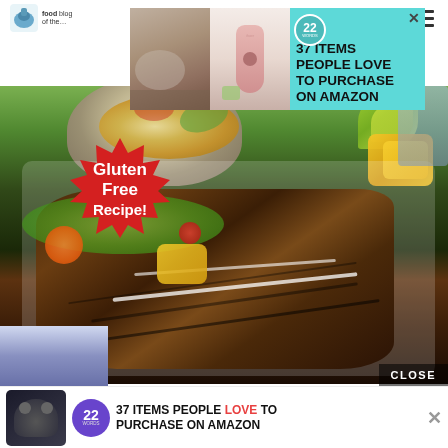Food blog website header with logo and hamburger menu
[Figure (screenshot): Advertisement banner: 37 ITEMS PEOPLE LOVE TO PURCHASE ON AMAZON with 22 Words badge and product images (woman with necklace, pink iHome dispenser)]
[Figure (photo): Food photo showing grilled chicken slices with white sauce drizzle, pineapple chunks, lime wedges, and a decorative bowl of soup/stew. A red starburst badge reads 'Gluten Free Recipe!']
Gluten Free Recipe!
[Figure (screenshot): Bottom advertisement banner: 37 ITEMS PEOPLE LOVE TO PURCHASE ON AMAZON with 22 Words purple badge and earbuds image]
CLOSE